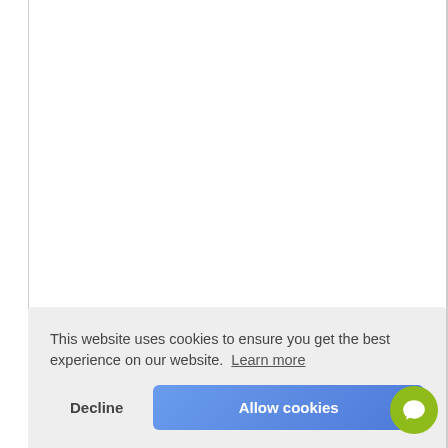This website uses cookies to ensure you get the best experience on our website. Learn more
Ingredients (INCI)
Water (Aqua), Caprylic...
Esculenta (Lentil) Seed Extract, Butylene Glycol, Sucrose